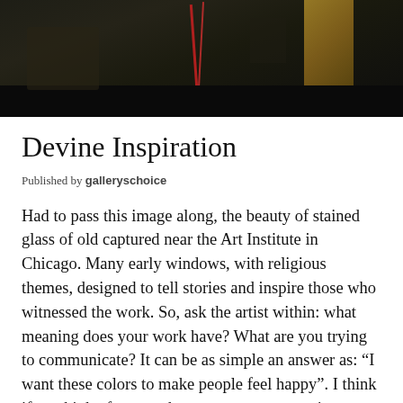[Figure (photo): Dark photograph showing stained glass or interior scene near Art Institute in Chicago, with red vertical lines visible and dark ambient lighting with warm golden tones]
Devine Inspiration
Published by galleryschoice
Had to pass this image along, the beauty of stained glass of old captured near the Art Institute in Chicago. Many early windows, with religious themes, designed to tell stories and inspire those who witnessed the work. So, ask the artist within: what meaning does your work have? What are you trying to communicate? It can be as simple an answer as: “I want these colors to make people feel happy”. I think if we think of our work as a way to communicate, we answer the question “why should I do this,” and we understand why our artwork matters! Enjoy!